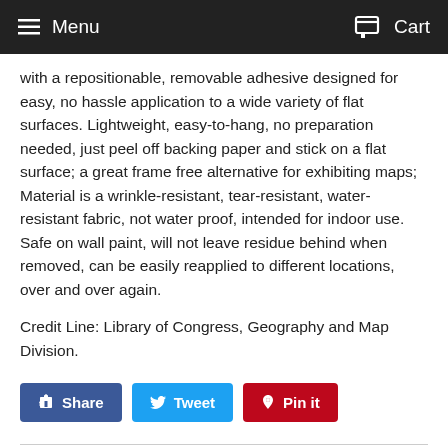Menu   Cart
with a repositionable, removable adhesive designed for easy, no hassle application to a wide variety of flat surfaces. Lightweight, easy-to-hang, no preparation needed, just peel off backing paper and stick on a flat surface; a great frame free alternative for exhibiting maps; Material is a wrinkle-resistant, tear-resistant, water-resistant fabric, not water proof, intended for indoor use. Safe on wall paint, will not leave residue behind when removed, can be easily reapplied to different locations, over and over again.
Credit Line: Library of Congress, Geography and Map Division.
Share
Tweet
Pin it
We Also Recommend